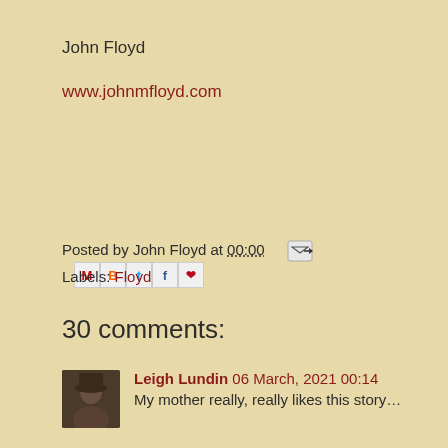John Floyd
www.johnmfloyd.com
Posted by John Floyd at 00:00
Labels: Floyd
30 comments:
Leigh Lundin 06 March, 2021 00:14
My mother really, really likes this story…